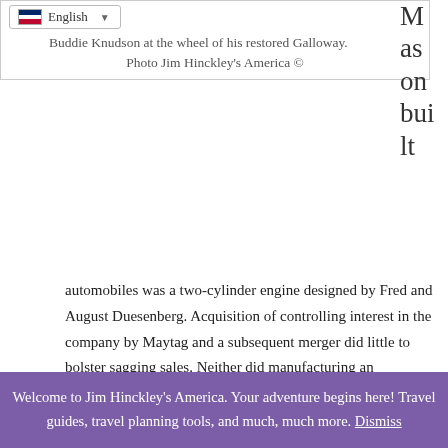[Figure (screenshot): Language selector bar showing English with flag icon and dropdown arrow]
Buddie Knudson at the wheel of his restored Galloway.
Photo Jim Hinckley's America ©
M as on bui lt automobiles was a two-cylinder engine designed by Fred and August Duesenberg. Acquisition of controlling interest in the company by Maytag and a subsequent merger did little to bolster sagging sales. Neither did manufacturing an automobile sold under the Galloway name in 1911. In 1910, Galloway and C.W. Hellen had purchased Dart, a manufacturer of trucks in Anderson, Indiana, and relocated the company to Waterloo. In 1914, with reorganization of the company it became Dart Truck & Tractor Company, a manufacturer of chain-driven tractors.
Privacy & Cookies: This site uses cookies. By continuing to use this website, you agree to their use.
To find out more, including how to control cookies, see here: Cookie Policy
Welcome to Jim Hinckley's America. Your adventure begins here! Travel guides, travel planning tools, and much, much more. Dismiss